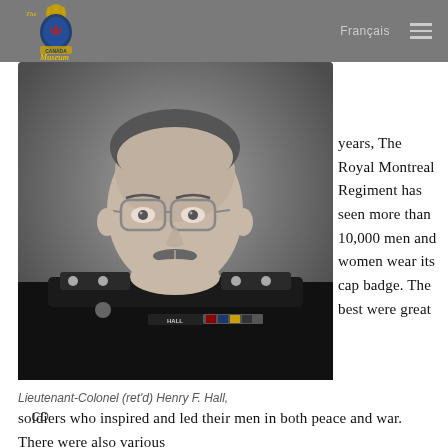The Royal Montreal Regiment Museum | Français
[Figure (photo): Black and white portrait photo of a man in military uniform with glasses, name tag reads 'HALL', with The Royal Montreal Regiment Museum logo overlaid top-left]
Lieutenant-Colonel (ret'd) Henry F. Hall, CD
years, The Royal Montreal Regiment has seen more than 10,000 men and women wear its cap badge. The best were great soldiers who inspired and led their men in both peace and war. There were also various